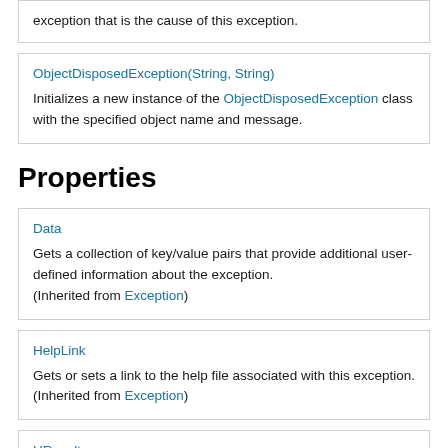exception that is the cause of this exception.
ObjectDisposedException(String, String)
Initializes a new instance of the ObjectDisposedException class with the specified object name and message.
Properties
Data
Gets a collection of key/value pairs that provide additional user-defined information about the exception.
(Inherited from Exception)
HelpLink
Gets or sets a link to the help file associated with this exception.
(Inherited from Exception)
HResult
Gets or sets HRESULT, a coded numerical value that is assigned